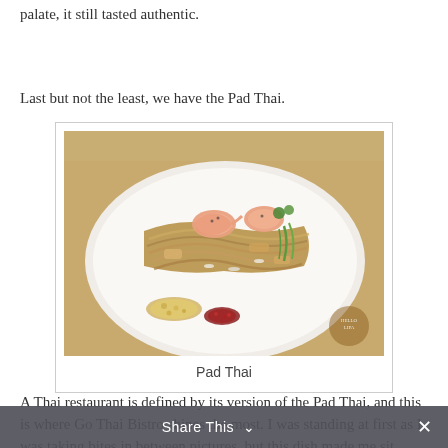palate, it still tasted authentic.
Last but not the least, we have the Pad Thai.
[Figure (photo): A plate of Pad Thai noodles with shrimp, garnished with green onions, crushed peanuts, and chili flakes on a white plate]
Pad Thai
A Thai restaurant is defined by its version of the Pad Thai, and this is where Go Thai Bistro shines the most. I was standing at first as I was taking bites in between pictures, but this dish made me sit down for me to fully